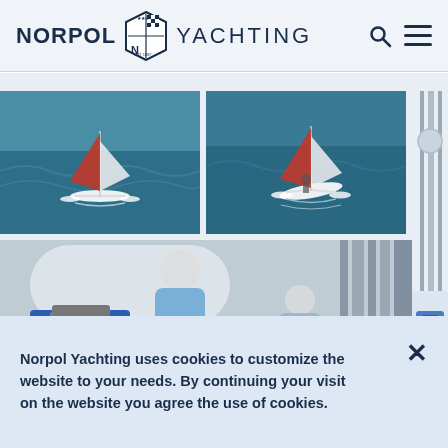NORPOL YACHTING
[Figure (photo): Four photos from Norpol Yachting: top-left two aerial/drone shots of a white trimaran sailboat with red sail on blue water; right side tall photo of yacht interior with grey curtain and porthole; bottom-left interior of yacht cabin with people cooking, blue portable stove visible]
Norpol Yachting uses cookies to customize the website to your needs. By continuing your visit on the website you agree the use of cookies.